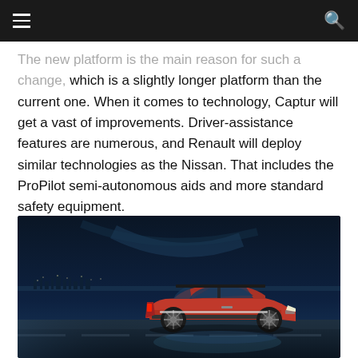Navigation bar with hamburger menu and search icon
The new platform is the main reason for such a change, which is a slightly longer platform than the current one. When it comes to technology, Captur will get a vast of improvements. Driver-assistance features are numerous, and Renault will deploy similar technologies as the Nissan. That includes the ProPilot semi-autonomous aids and more standard safety equipment.
[Figure (photo): Renault Captur in red driving on a road at night with city lights in the background and a dark blue sky]